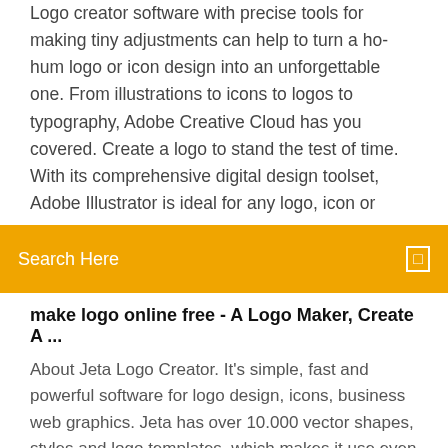Logo creator software with precise tools for making tiny adjustments can help to turn a ho-hum logo or icon design into an unforgettable one. From illustrations to icons to logos to typography, Adobe Creative Cloud has you covered. Create a logo to stand the test of time. With its comprehensive digital design toolset, Adobe Illustrator is ideal for any logo, icon or
[Figure (screenshot): Orange search bar with text 'Search Here' and a search icon on the right]
make logo online free - A Logo Maker, Create A ...
About Jeta Logo Creator. It's simple, fast and powerful software for logo design, icons, business web graphics. Jeta has over 10.000 vector shapes, styles and logo templates, which makes it use even simpler and faster. Start your design with one of over 400 logo templates, modify it by replacing shapes and styles and you will get unique logo design in just a few minutes! Free Logo Maker Online - Create a Logo in Minutes | ... With the Logaster free logo maker, you can create and download a small-